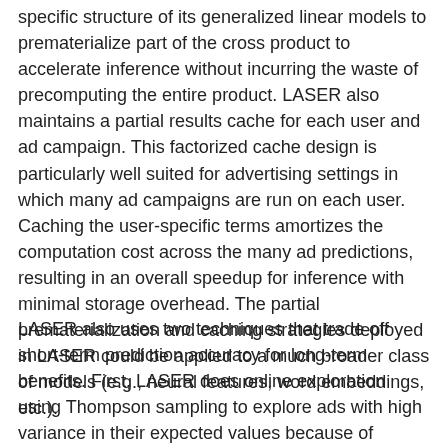specific structure of its generalized linear models to prematerialize part of the cross product to accelerate inference without incurring the waste of precomputing the entire product. LASER also maintains a partial results cache for each user and ad campaign. This factorized cache design is particularly well suited for advertising settings in which many ad campaigns are run on each user. Caching the user-specific terms amortizes the computation cost across the many ad predictions, resulting in an overall speedup for inference with minimal storage overhead. The partial prematerialization and caching strategies deployed in LASER could be applied to a much broader class of models (e.g., neural features, word embeddings, etc.).
LASER also uses two techniques that trade off short-term prediction accuracy for long-term benefits. First, LASER does online exploration using Thompson sampling to explore ads with high variance in their expected values because of